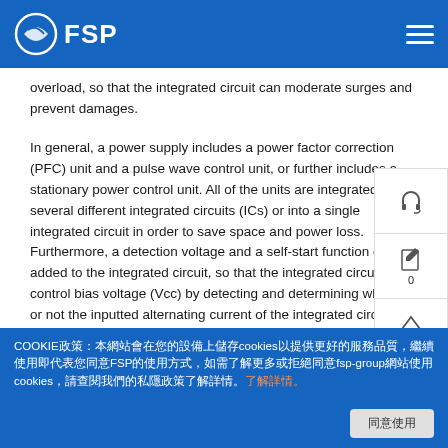FSP
overload, so that the integrated circuit can moderate surges and prevent damages.
In general, a power supply includes a power factor correction (PFC) unit and a pulse wave control unit, or further includes a stationary power control unit. All of the units are integrated into several different integrated circuits (ICs) or into a single integrated circuit in order to save space and power loss. Furthermore, a detection voltage and a self-start function can be added to the integrated circuit, so that the integrated circuit can control bias voltage (Vcc) by detecting and determining whether or not the inputted alternating current of the integrated circuit has reached the operating voltage, and then the integrated circuit decides whether or not to start a circuit unit in the integrated circuit. If the inputted alternating current has not reached a normal operating voltage, the
COOKIE政策：本網站會在您的設備上儲存cookies以提供更好的服務品質，繼續使用即代表您同意FSP的使用方式，如需了解更多或拒絕同意fsp-group網站使用cookies，請查閱我們的私隱政策了解詳情。